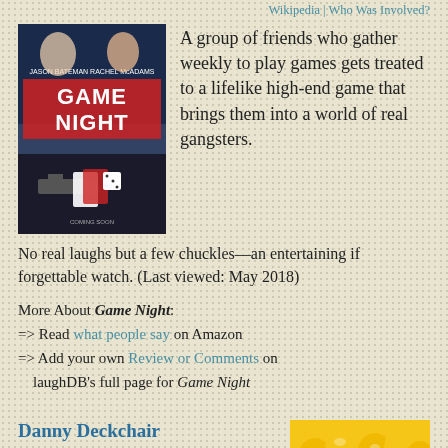Wikipedia | Who Was Involved?
[Figure (photo): Movie poster for Game Night featuring Jason Bateman and Rachel McAdams]
A group of friends who gather weekly to play games gets treated to a lifelike high-end game that brings them into a world of real gangsters.
No real laughs but a few chuckles—an entertaining if forgettable watch. (Last viewed: May 2018)
More About Game Night:
=> Read what people say on Amazon
=> Add your own Review or Comments on laughDB's full page for Game Night
Danny Deckchair
2003 | Australia | Laughs: 2.0 (Watch Once) | imdb: 6.7
[Figure (photo): Movie still or poster for Danny Deckchair showing yellow/golden colored image]